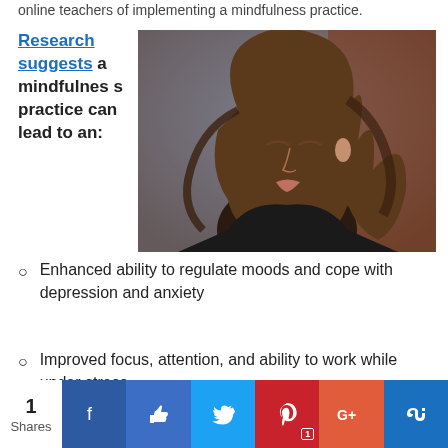online teachers of implementing a mindfulness practice.
Research suggests a mindfulness practice can lead to an:
[Figure (photo): Woman with eyes closed, head tilted back, long hair flowing, peaceful expression outdoors with blurred background]
Enhanced ability to regulate moods and cope with depression and anxiety
Improved focus, attention, and ability to work while under stress
1 Shares | Social share buttons: Facebook, Like, Twitter, Pinterest (1), Google+, Stumbleupon